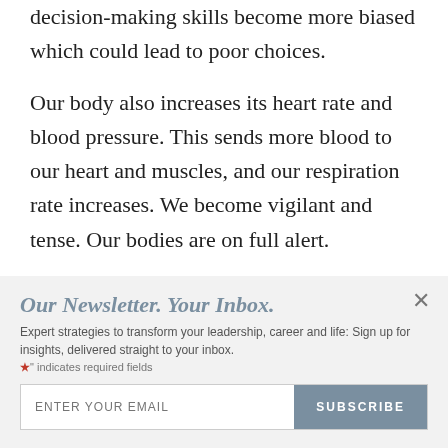decision-making skills become more biased which could lead to poor choices.
Our body also increases its heart rate and blood pressure. This sends more blood to our heart and muscles, and our respiration rate increases. We become vigilant and tense. Our bodies are on full alert.
When we are threatened or triggered in some way, the
Our Newsletter. Your Inbox.
Expert strategies to transform your leadership, career and life: Sign up for insights, delivered straight to your inbox.
"*" indicates required fields